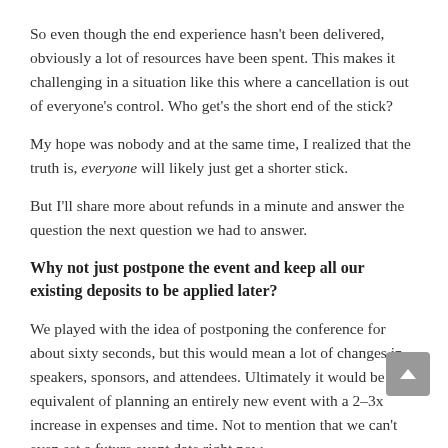So even though the end experience hasn't been delivered, obviously a lot of resources have been spent. This makes it challenging in a situation like this where a cancellation is out of everyone's control. Who get's the short end of the stick?
My hope was nobody and at the same time, I realized that the truth is, everyone will likely just get a shorter stick.
But I'll share more about refunds in a minute and answer the question the next question we had to answer.
Why not just postpone the event and keep all our existing deposits to be applied later?
We played with the idea of postponing the conference for about sixty seconds, but this would mean a lot of changes in speakers, sponsors, and attendees. Ultimately it would be the equivalent of planning an entirely new event with a 2–3x increase in expenses and time. Not to mention that we can't even set a future event date right now.
So we decided to remove the in-person conference and